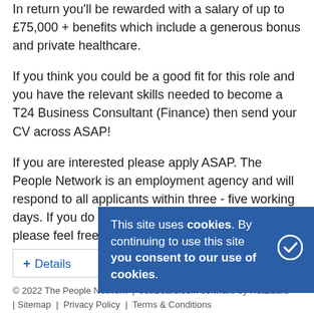In return you'll be rewarded with a salary of up to £75,000 + benefits which include a generous bonus and private healthcare.
If you think you could be a good fit for this role and you have the relevant skills needed to become a T24 Business Consultant (Finance) then send your CV across ASAP!
If you are interested please apply ASAP. The People Network is an employment agency and will respond to all applicants within three - five working days. If you do not hear within these timescales please feel free to get in touch
+ Details
This site uses cookies. By continuing to use this site you consent to our use of cookies.
© 2022 The People Network | JobBoard.com software by HotLizard | Sitemap | Privacy Policy | Terms & Conditions